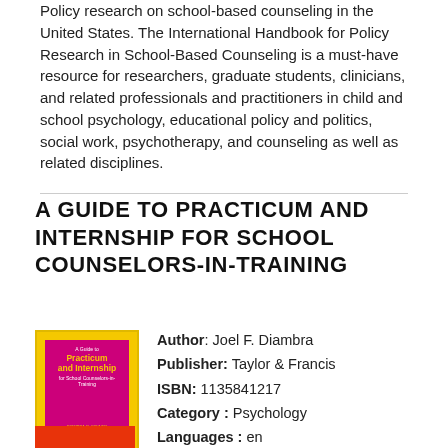Policy research on school-based counseling in the United States. The International Handbook for Policy Research in School-Based Counseling is a must-have resource for researchers, graduate students, clinicians, and related professionals and practitioners in child and school psychology, educational policy and politics, social work, psychotherapy, and counseling as well as related disciplines.
A GUIDE TO PRACTICUM AND INTERNSHIP FOR SCHOOL COUNSELORS-IN-TRAINING
[Figure (illustration): Book cover of 'A Guide to Practicum and Internship for School Counselors-in-Training' with magenta/pink background and yellow title text, published by Taylor & Francis (Routledge)]
Author: Joel F. Diambra
Publisher: Taylor & Francis
ISBN: 1135841217
Category : Psychology
Languages : en
Pages : 252